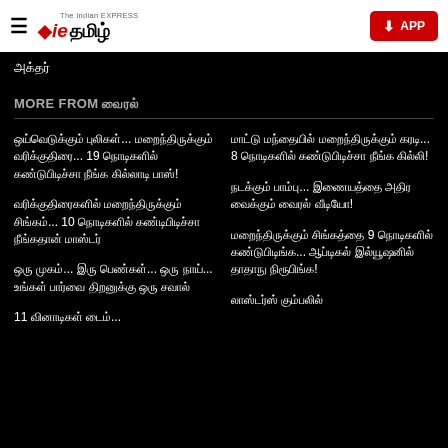IE தமிழ் — The Indian Express
அக்தர்
MORE FROM வைரல்
ஒய்வெடுக்கும் புலிகள்... மறைந்திருக்கும் வரிக்குதிரை... 19 நொடிகளில் கண்டுபிடிச்சா நீங்க கில்லாடி பாஸ்!
மாட்டு மந்தையில் மறைந்திருக்கும் கரடி... 8 நொடிகளில் கண்டுபிடிச்சா நீங்க கில்லி!
வரிக்குதிரைகளில் மறைந்திருக்கும் சிங்கம்... 10 நொடிகளில் கண்டிபிடிச்சா நீங்கதான் மாஸ்டர்
நடக்கும் பாம்பு... இணையத்தை அதிர வைக்கும் வைரல் வீடியோ!
ஒரு முகம்... இரு பெண்கள்... ஒரு நாய்... உங்கள் பார்வை திறனுக்கு ஒரு சவால்
மறைந்திருக்கும் சிங்கத்தை 9 நொடிகளில் கண்டுபிடிங்க... ஆப்டிகல் இல்யூஷனில் தாதாநு நிரூபிங்க!
11 வினாடிகள் டைம்...
லாஸ்டர்ஸ் கும்பலில்